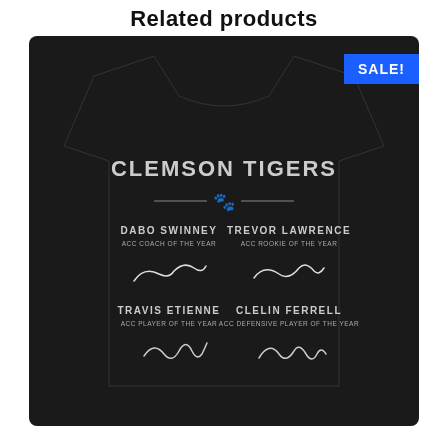Related products
[Figure (photo): A black t-shirt with Clemson Tigers branding featuring four signatures: Dabo Swinney (ACC Coach of the Year), Trevor Lawrence (ACC Rookie of the Year), Travis Etienne (ACC Player of the Year), and Clelin Ferrell (ACC Defensive Player of the Year). The shirt shows CLEMSON TIGERS text with an orange paw print logo and horizontal lines. A blue SALE! badge appears in the top right corner.]